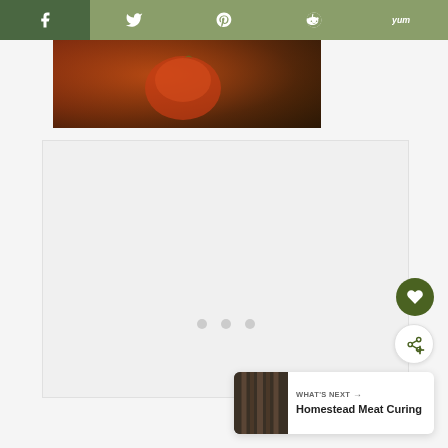Share bar with Facebook, Twitter, Pinterest, Reddit, Yummly buttons
[Figure (photo): Partial photo showing a reddish-brown food item, possibly cured meat or a tomato, on a wooden surface]
[Figure (other): Advertisement placeholder area with light gray background and three loading dots]
WHAT'S NEXT → Homestead Meat Curing